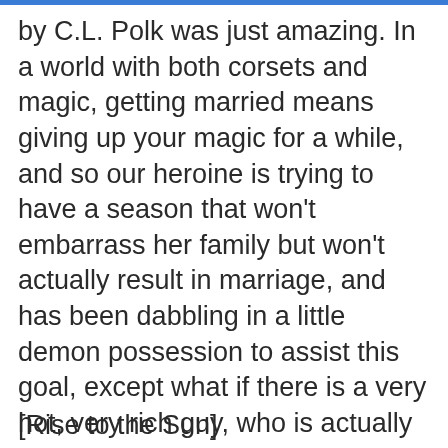by C.L. Polk was just amazing. In a world with both corsets and magic, getting married means giving up your magic for a while, and so our heroine is trying to have a season that won’t embarrass her family but won’t actually result in marriage, and has been dabbling in a little demon possession to assist this goal, except what if there is a very hot, very rich guy, who is actually in love with her?
[Rise to the Sun]